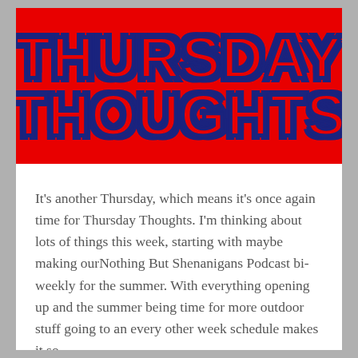[Figure (illustration): Red banner with 'THURSDAY THOUGHTS' text in large bold blue-outlined letters on a red background]
It's another Thursday, which means it's once again time for Thursday Thoughts. I'm thinking about lots of things this week, starting with maybe making ourNothing But Shenanigans Podcast bi-weekly for the summer. With everything opening up and the summer being time for more outdoor stuff going to an every other week schedule makes it so...
Continue Reading →